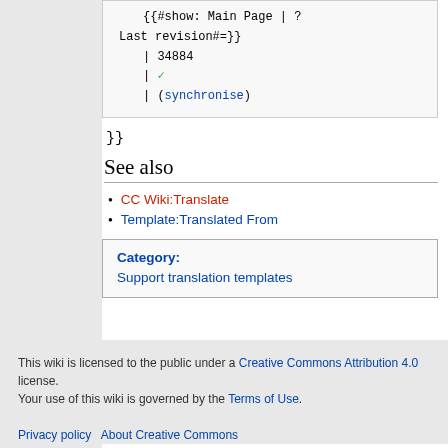{{#show: Main Page | ? Last revision#=}}
    | 34884
    | ✓
    | (synchronise)
}}
See also
CC Wiki:Translate
Template:Translated From
Category:
Support translation templates
This wiki is licensed to the public under a Creative Commons Attribution 4.0 license.
Your use of this wiki is governed by the Terms of Use.
Privacy policy  About Creative Commons